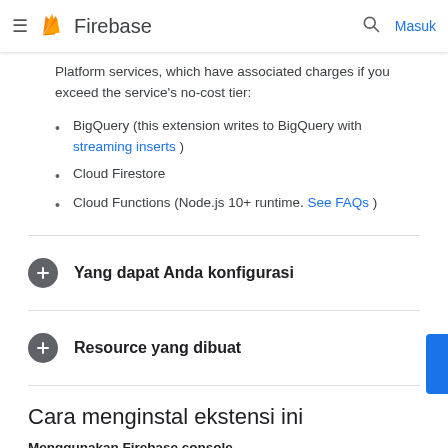Firebase  Masuk
Platform services, which have associated charges if you exceed the service's no-cost tier:
BigQuery (this extension writes to BigQuery with streaming inserts )
Cloud Firestore
Cloud Functions (Node.js 10+ runtime. See FAQs )
Yang dapat Anda konfigurasi
Resource yang dibuat
Cara menginstal ekstensi ini
Menggunakan Firebase console
Anda dapat menggunakan Firebase console untuk menginstal dan mengelola ekstensi.